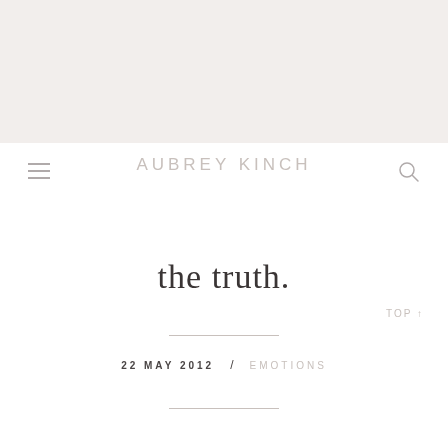[Figure (other): Light beige/cream banner image filling the top portion of the page]
AUBREY KINCH
the truth.
TOP ↑
22 MAY 2012  /  EMOTIONS